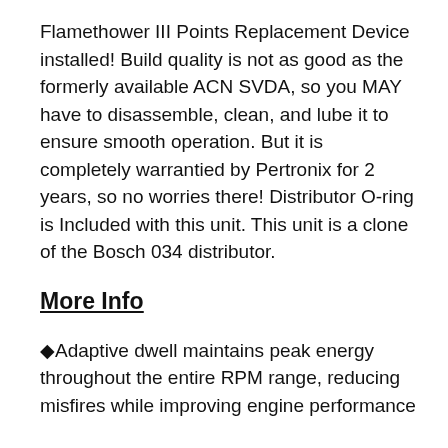Flamethower III Points Replacement Device installed! Build quality is not as good as the formerly available ACN SVDA, so you MAY have to disassemble, clean, and lube it to ensure smooth operation. But it is completely warrantied by Pertronix for 2 years, so no worries there! Distributor O-ring is Included with this unit. This unit is a clone of the Bosch 034 distributor.
More Info
◆Adaptive dwell maintains peak energy throughout the entire RPM range, reducing misfires while improving engine performance
◆Peak current level is reached just prior to spark for maximum energy without the heat